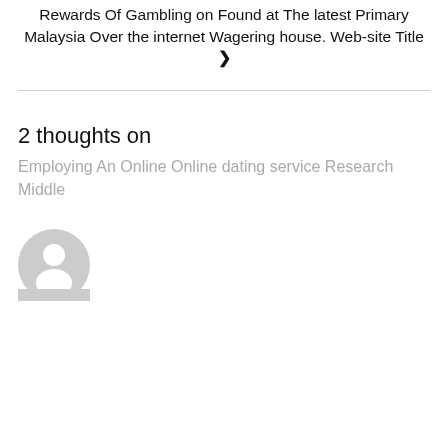Rewards Of Gambling on Found at The latest Primary Malaysia Over the internet Wagering house. Web-site Title ❯
2 thoughts on
Employing An Online Online dating service Research Middle
[Figure (illustration): Generic user avatar icon — grey circle with a person silhouette cutout]